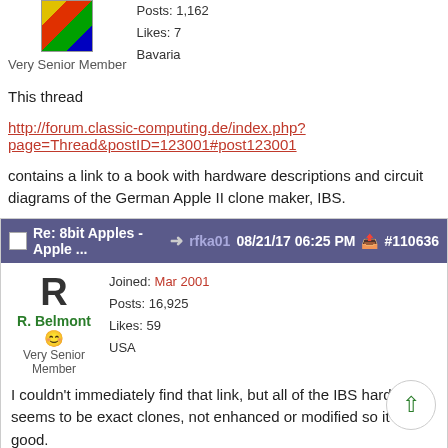Very Senior Member
Posts: 1,162
Likes: 7
Bavaria
This thread
http://forum.classic-computing.de/index.php?page=Thread&postID=123001#post123001
contains a link to a book with hardware descriptions and circuit diagrams of the German Apple II clone maker, IBS.
Re: 8bit Apples - Apple ...  rfka01  08/21/17 06:25 PM  #110636
R. Belmont
Very Senior Member
Joined: Mar 2001
Posts: 16,925
Likes: 59
USA
I couldn't immediately find that link, but all of the IBS hardware seems to be exact clones, not enhanced or modified so it's all good.